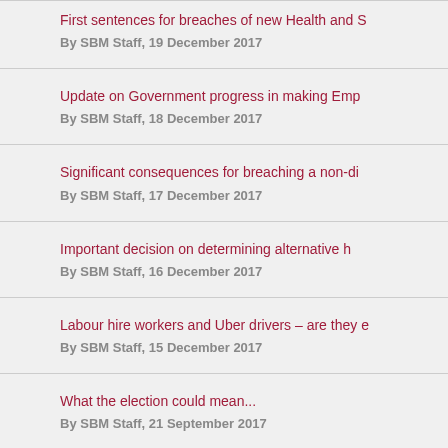First sentences for breaches of new Health and S...
By SBM Staff, 19 December 2017
Update on Government progress in making Emp...
By SBM Staff, 18 December 2017
Significant consequences for breaching a non-di...
By SBM Staff, 17 December 2017
Important decision on determining alternative h...
By SBM Staff, 16 December 2017
Labour hire workers and Uber drivers – are they e...
By SBM Staff, 15 December 2017
What the election could mean...
By SBM Staff, 21 September 2017